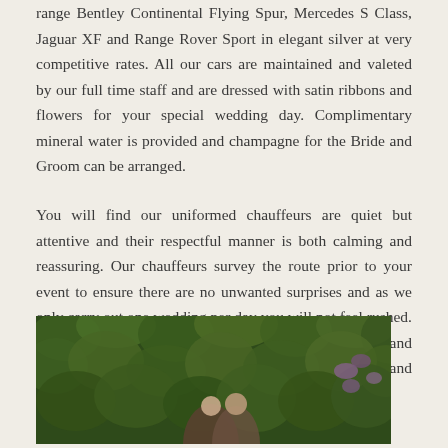range Bentley Continental Flying Spur, Mercedes S Class, Jaguar XF and Range Rover Sport in elegant silver at very competitive rates. All our cars are maintained and valeted by our full time staff and are dressed with satin ribbons and flowers for your special wedding day. Complimentary mineral water is provided and champagne for the Bride and Groom can be arranged.
You will find our uniformed chauffeurs are quiet but attentive and their respectful manner is both calming and reassuring. Our chauffeurs survey the route prior to your event to ensure there are no unwanted surprises and as we only carry out one wedding per day you will not feel rushed. We have been providing Wedding Car Hire for 30 years and all our staff know the importance of putting the Bride and Groom first on your special day.
[Figure (photo): Wedding couple standing in front of lush green foliage/garden hedge background with purple flowers visible on the right side]